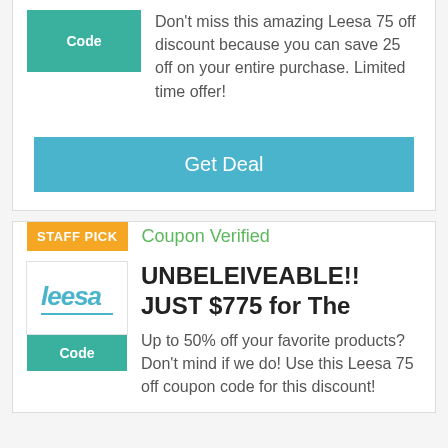Don't miss this amazing Leesa 75 off discount because you can save 25 off on your entire purchase. Limited time offer!
Get Deal
STAFF PICK
Coupon Verified
[Figure (logo): Leesa brand logo in teal/blue italic text]
Code
UNBELEIVEABLE!! JUST $775 for The
Up to 50% off your favorite products? Don't mind if we do! Use this Leesa 75 off coupon code for this discount!